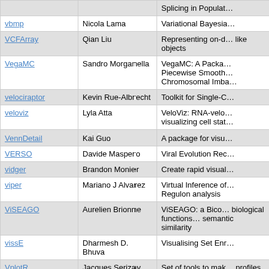| Package | Author | Description |
| --- | --- | --- |
| (truncated) |  | Splicing in Populat… |
| vbmp | Nicola Lama | Variational Bayesia… |
| VCFArray | Qian Liu | Representing on-d… like objects |
| VegaMC | Sandro Morganella | VegaMC: A Packa… Piecewise Smooth… Chromosomal Imba… |
| velociraptor | Kevin Rue-Albrecht | Toolkit for Single-C… |
| veloviz | Lyla Atta | VeloViz: RNA-velo… visualizing cell stat… |
| VennDetail | Kai Guo | A package for visu… |
| VERSO | Davide Maspero | Viral Evolution Rec… |
| vidger | Brandon Monier | Create rapid visual… |
| viper | Mariano J Alvarez | Virtual Inference of… Regulon analysis |
| ViSEAGO | Aurelien Brionne | ViSEAGO: a Bico… biological functions… semantic similarity |
| vissE | Dharmesh D. Bhuva | Visualising Set Enr… |
| VplotR | Jacques Serizay | Set of tools to mak… profiles |
| vsn | Wolfgang Huber | Variance stabilizati… data |
| vtpnet | VJ Carey | variant-transcriptio… |
| vulcan | Federico M. Giorgi | VirtUaL ChIP-Seq o… |
| waddR | Julian Flesch | Statistical tests for… based on the 2-Wa… |